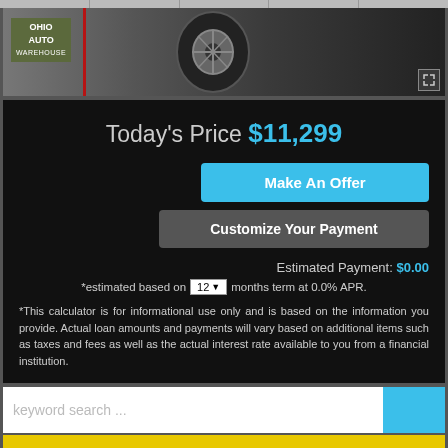[Figure (photo): Ohio Auto Warehouse vehicle listing photo showing a large tire/wheel with red accent. Expand icon in bottom right.]
Today's Price $11,299
Make An Offer
Customize Your Payment
Estimated Payment: $0.00
*estimated based on 12 months term at 0.0% APR.
*This calculator is for informational use only and is based on the information you provide. Actual loan amounts and payments will vary based on additional items such as taxes and fees as well as the actual interest rate available to you from a financial institution.
keyword search ...